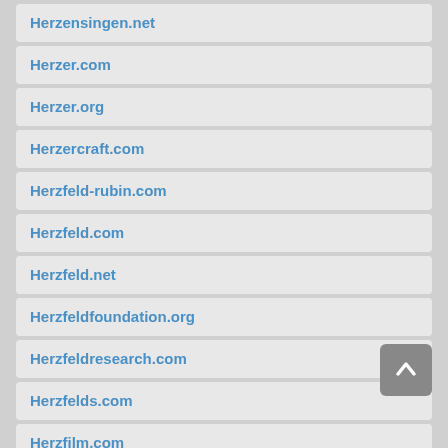Herzensingen.net
Herzer.com
Herzer.org
Herzercraft.com
Herzfeld-rubin.com
Herzfeld.com
Herzfeld.net
Herzfeldfoundation.org
Herzfeldresearch.com
Herzfelds.com
Herzfilm.com